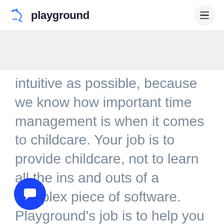playground
intuitive as possible, because we know how important time management is when it comes to childcare. Your job is to provide childcare, not to learn all the ins and outs of a complex piece of software. Playground's job is to help you provide that care more effectively. It's as simple as that.
[Figure (illustration): Blue circular chat/support button with white speech bubble icon in bottom left corner]